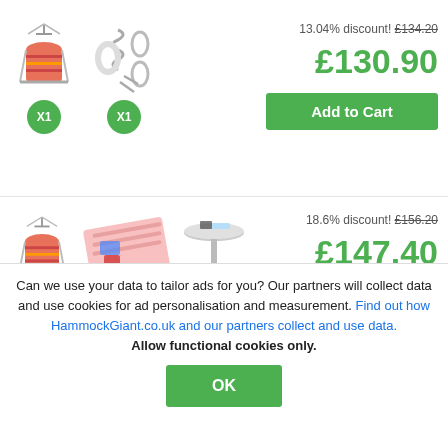[Figure (screenshot): E-commerce product bundle page showing two hammock product bundles with images, quantity badges, discount prices, and Add to Cart buttons, plus a cookie consent overlay at the bottom.]
13.04% discount! £134.20
£130.90
Add to Cart
18.6% discount! £156.20
£147.40
Add to Cart
Can we use your data to tailor ads for you? Our partners will collect data and use cookies for ad personalisation and measurement. Find out how HammockGiant.co.uk and our partners collect and use data. Allow functional cookies only.
OK